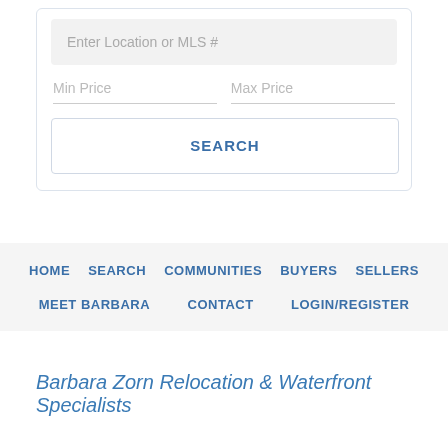Enter Location or MLS #
Min Price
Max Price
SEARCH
HOME
SEARCH
COMMUNITIES
BUYERS
SELLERS
MEET BARBARA
CONTACT
LOGIN/REGISTER
Barbara Zorn Relocation & Waterfront Specialists